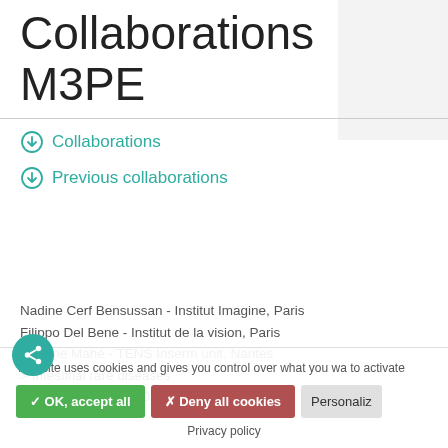Collaborations M3PE
Collaborations
Previous collaborations
Collaborations
Nadine Cerf Bensussan - Institut Imagine, Paris
Filippo Del Bene - Institut de la vision, Paris
Maxime Mahé - TENS Inserm unit, Nantes
> Intestinal rare diseases
R Inception grant - 2020-2022
This site uses cookies and gives you control over what you wa to activate
✓ OK, accept all   ✗ Deny all cookies   Personalize   Privacy policy